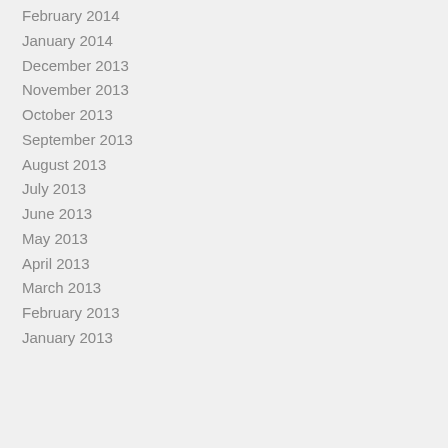February 2014
January 2014
December 2013
November 2013
October 2013
September 2013
August 2013
July 2013
June 2013
May 2013
April 2013
March 2013
February 2013
January 2013